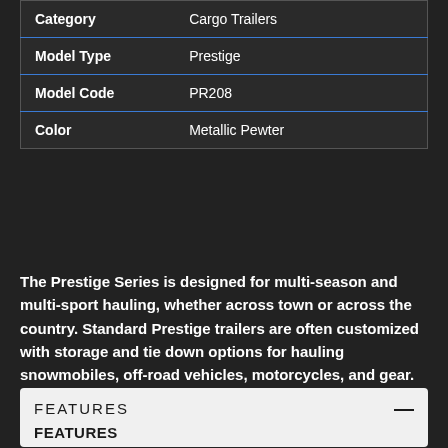| Category | Cargo Trailers |
| --- | --- |
| Model Type | Prestige |
| Model Code | PR208 |
| Color | Metallic Pewter |
The Prestige Series is designed for multi-season and multi-sport hauling, whether across town or across the country. Standard Prestige trailers are often customized with storage and tie down options for hauling snowmobiles, off-road vehicles, motorcycles, and gear. The Prestige Series has Triton's construction, fit and finish and offers the following standard features.
FEATURES
FEATURES